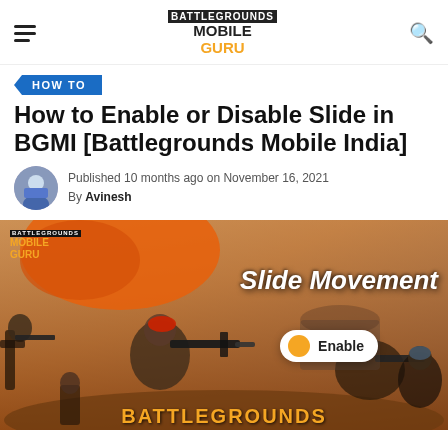BATTLEGROUNDS MOBILE GURU (navigation header with hamburger menu and search icon)
HOW TO
How to Enable or Disable Slide in BGMI [Battlegrounds Mobile India]
Published 10 months ago on November 16, 2021
By Avinesh
[Figure (photo): BGMI game screenshot showing soldiers with guns and text overlay 'Slide Movement' with an orange Enable toggle button, and Battlegrounds logo at the bottom]